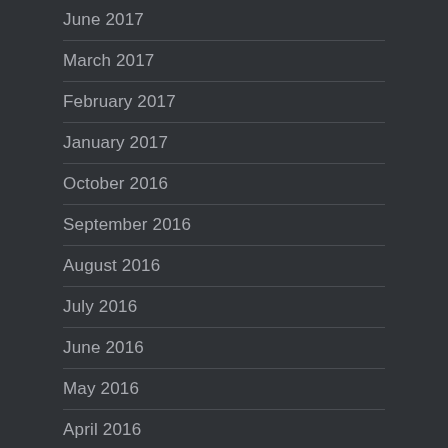June 2017
March 2017
February 2017
January 2017
October 2016
September 2016
August 2016
July 2016
June 2016
May 2016
April 2016